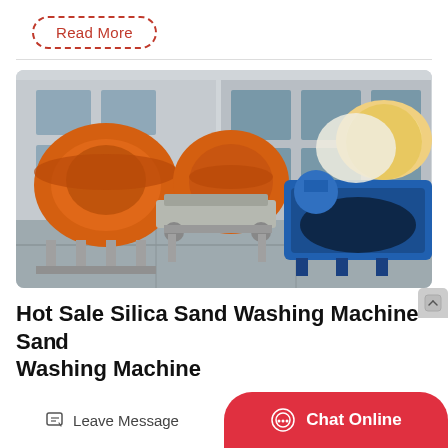Read More
[Figure (photo): Industrial sand washing machines and equipment displayed in a factory yard. Large orange bowl-shaped machines, a blue trough/basin, conveyor/screening units, in front of a grey industrial building.]
Hot Sale Silica Sand Washing Machine Sand Washing Machine
Leave Message
Chat Online